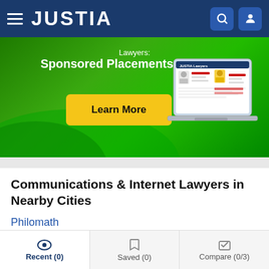JUSTIA
[Figure (screenshot): Justia Lawyers sponsored placements advertisement banner with Learn More button and laptop illustration showing Justia Lawyers profile page]
Communications & Internet Lawyers in Nearby Cities
Philomath
Albany
Monmouth
Independence
Recent (0)   Saved (0)   Compare (0/3)